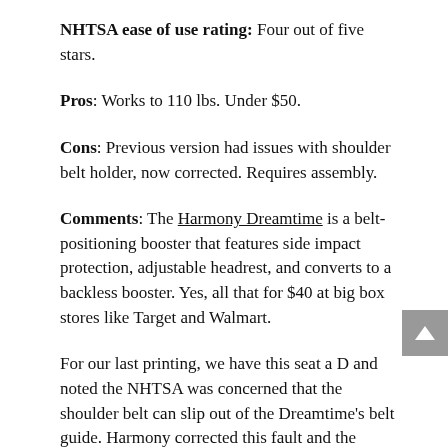NHTSA ease of use rating: Four out of five stars.
Pros: Works to 110 lbs. Under $50.
Cons: Previous version had issues with shoulder belt holder, now corrected. Requires assembly.
Comments: The Harmony Dreamtime is a belt-positioning booster that features side impact protection, adjustable headrest, and converts to a backless booster. Yes, all that for $40 at big box stores like Target and Walmart.
For our last printing, we have this seat a D and noted the NHTSA was concerned that the shoulder belt can slip out of the Dreamtime's belt guide. Harmony corrected this fault and the